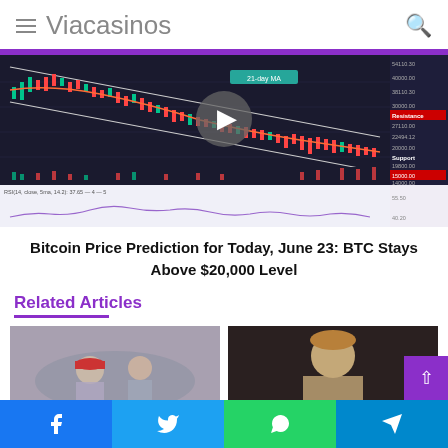Viacasinos
[Figure (continuous-plot): Bitcoin price candlestick chart showing BTC/USD with downward channel, 21-day MA label, Resistance and Support labels, volume bars at bottom, and RSI indicator panel below. Video play button overlay in center.]
Bitcoin Price Prediction for Today, June 23: BTC Stays Above $20,000 Level
Related Articles
[Figure (photo): Photo of people at what appears to be a poker/casino event, man in red cap visible]
[Figure (photo): Portrait photo of a man with medium-length hair against dark background]